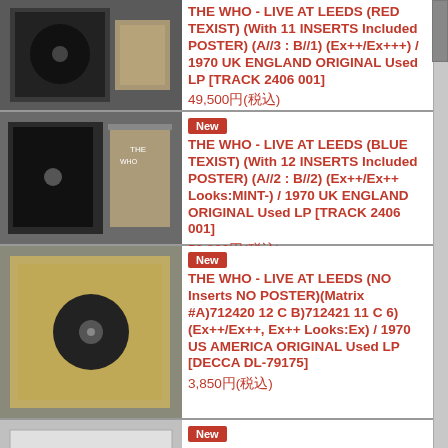THE WHO - LIVE AT LEEDS (RED TEXIST) (With 11 INSERTS Included POSTER) (A//3 : B//1) (Ex++/Ex+++) / 1970 UK ENGLAND ORIGINAL Used LP [TRACK 2406 001]
49,500円(税込)
New
THE WHO - LIVE AT LEEDS (BLUE TEXIST) (With 12 INSERTS Included POSTER) (A//2 : B//2) (Ex++/Ex++ Looks:MINT-) / 1970 UK ENGLAND ORIGINAL Used LP [TRACK 2406 001]
52,800円(税込)
New
THE WHO - LIVE AT LEEDS (NO Inserts NO POSTER)(Matrix #A)712420 12 C B)712421 11 C 6) (Ex++/Ex++, Ex++ Looks:Ex) / 1970 US AMERICA ORIGINAL Used LP [DECCA DL-79175]
3,850円(税込)
New
THE WHO - WHO'S NEXT Matrix # A) MG 7.12888 W2 X B) MG 7.12889-W2) (Ex++/Ex+++ Looks;MINT- SWOFC) / 1971 US AMERICA ORIGINAL Used LP [DECCA DL-79812]